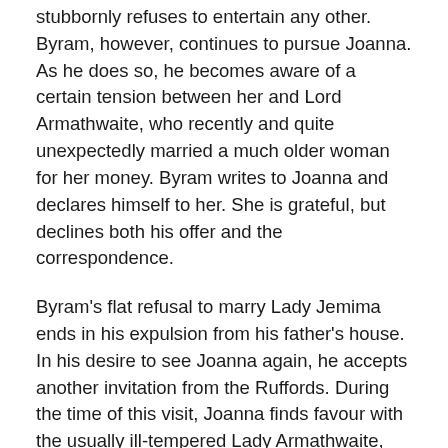stubbornly refuses to entertain any other. Byram, however, continues to pursue Joanna. As he does so, he becomes aware of a certain tension between her and Lord Armathwaite, who recently and quite unexpectedly married a much older woman for her money. Byram writes to Joanna and declares himself to her. She is grateful, but declines both his offer and the correspondence.
Byram's flat refusal to marry Lady Jemima ends in his expulsion from his father's house. In his desire to see Joanna again, he accepts another invitation from the Ruffords. During the time of this visit, Joanna finds favour with the usually ill-tempered Lady Armathwaite, which provokes the jealous Ruffords into treating more callously than ever. At this crisis, Mr Rufford receives a letter from a dissolute nobleman, Lord Surchester, in which he openly offers to buy Joanna from her guardian.